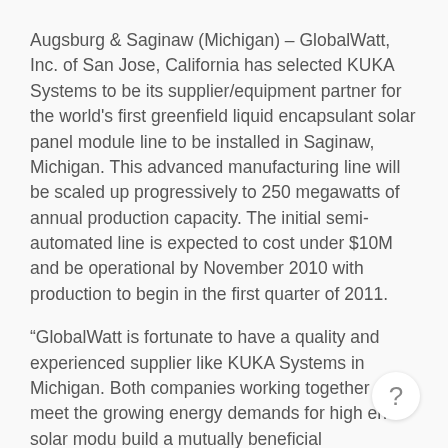Augsburg & Saginaw (Michigan) – GlobalWatt, Inc. of San Jose, California has selected KUKA Systems to be its supplier/equipment partner for the world's first greenfield liquid encapsulant solar panel module line to be installed in Saginaw, Michigan. This advanced manufacturing line will be scaled up progressively to 250 megawatts of annual production capacity. The initial semi-automated line is expected to cost under $10M and be operational by November 2010 with production to begin in the first quarter of 2011.
“GlobalWatt is fortunate to have a quality and experienced supplier like KUKA Systems in Michigan. Both companies working together can meet the growing energy demands for high end solar modu[les and] build a mutually beneficial relationship. Our business is